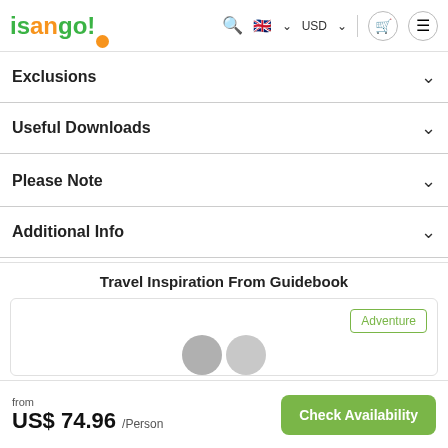isango! — navigation bar with search, language (USD), cart, and menu icons
Exclusions
Useful Downloads
Please Note
Additional Info
Travel Inspiration From Guidebook
[Figure (other): Card with Adventure badge and partial image thumbnail circles at the bottom]
from US$ 74.96 /Person
Check Availability